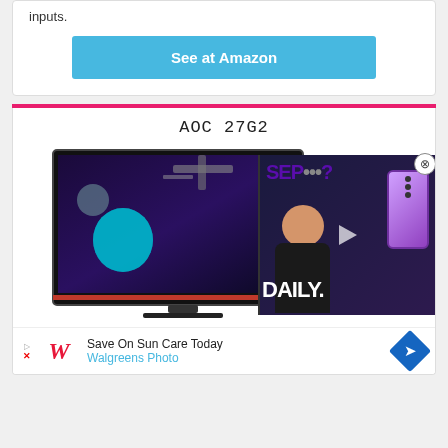inputs.
See at Amazon
AOC 27G2
[Figure (photo): AOC 27G2 gaming monitor displaying a space scene with planets and a space station, partially overlaid by a video thumbnail showing a person with 'SEP...?' text and a purple phone, with 'DAILY.' text overlay]
[Figure (other): Walgreens advertisement banner: 'Save On Sun Care Today - Walgreens Photo']